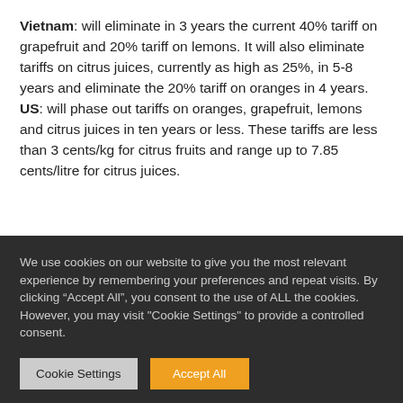Vietnam: will eliminate in 3 years the current 40% tariff on grapefruit and 20% tariff on lemons. It will also eliminate tariffs on citrus juices, currently as high as 25%, in 5-8 years and eliminate the 20% tariff on oranges in 4 years.
US: will phase out tariffs on oranges, grapefruit, lemons and citrus juices in ten years or less. These tariffs are less than 3 cents/kg for citrus fruits and range up to 7.85 cents/litre for citrus juices.
We use cookies on our website to give you the most relevant experience by remembering your preferences and repeat visits. By clicking “Accept All”, you consent to the use of ALL the cookies. However, you may visit "Cookie Settings" to provide a controlled consent.